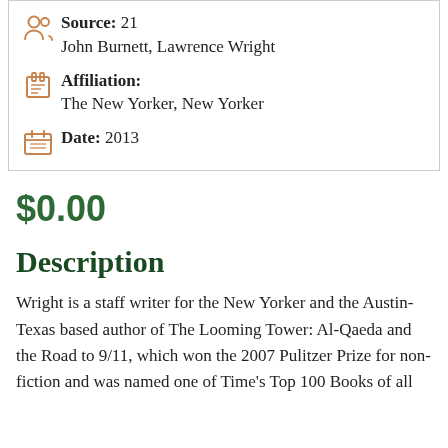Source: 21
John Burnett, Lawrence Wright
Affiliation:
The New Yorker, New Yorker
Date: 2013
$0.00
Description
Wright is a staff writer for the New Yorker and the Austin-Texas based author of The Looming Tower: Al-Qaeda and the Road to 9/11, which won the 2007 Pulitzer Prize for non-fiction and was named one of Time's Top 100 Books of all